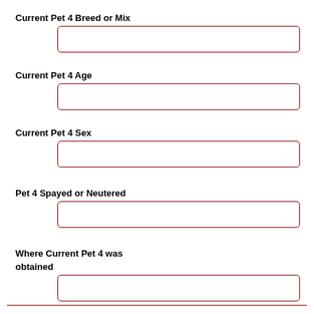Current Pet 4 Breed or Mix
Current Pet 4 Age
Current Pet 4 Sex
Pet 4 Spayed or Neutered
Where Current Pet 4 was obtained